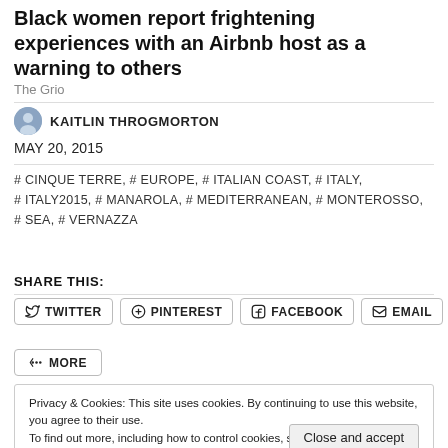Black women report frightening experiences with an Airbnb host as a warning to others
The Grio
KAITLIN THROGMORTON
MAY 20, 2015
# CINQUE TERRE, # EUROPE, # ITALIAN COAST, # ITALY, # ITALY2015, # MANAROLA, # MEDITERRANEAN, # MONTEROSSO, # SEA, # VERNAZZA
SHARE THIS:
TWITTER
PINTEREST
FACEBOOK
EMAIL
MORE
Privacy & Cookies: This site uses cookies. By continuing to use this website, you agree to their use. To find out more, including how to control cookies, see here: Cookie Policy
Close and accept